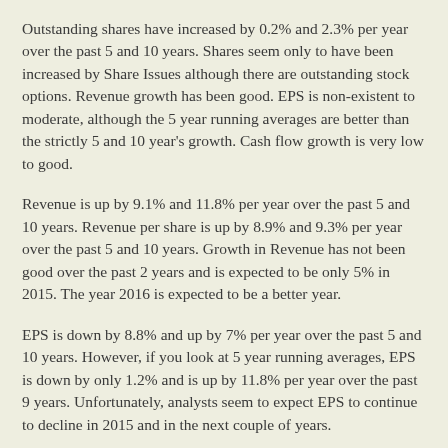Outstanding shares have increased by 0.2% and 2.3% per year over the past 5 and 10 years. Shares seem only to have been increased by Share Issues although there are outstanding stock options. Revenue growth has been good. EPS is non-existent to moderate, although the 5 year running averages are better than the strictly 5 and 10 year's growth. Cash flow growth is very low to good.
Revenue is up by 9.1% and 11.8% per year over the past 5 and 10 years. Revenue per share is up by 8.9% and 9.3% per year over the past 5 and 10 years. Growth in Revenue has not been good over the past 2 years and is expected to be only 5% in 2015. The year 2016 is expected to be a better year.
EPS is down by 8.8% and up by 7% per year over the past 5 and 10 years. However, if you look at 5 year running averages, EPS is down by only 1.2% and is up by 11.8% per year over the past 9 years. Unfortunately, analysts seem to expect EPS to continue to decline in 2015 and in the next couple of years.